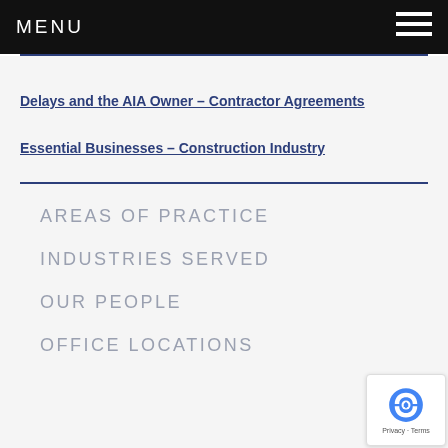MENU
Delays and the AIA Owner – Contractor Agreements
Essential Businesses – Construction Industry
AREAS OF PRACTICE
INDUSTRIES SERVED
OUR PEOPLE
OFFICE LOCATIONS